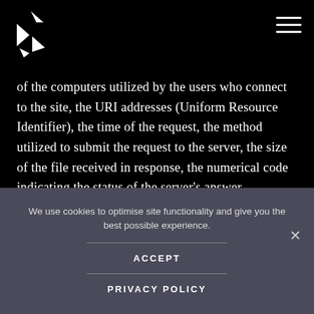[Logo and navigation header]
of the computers utilized by the users who connect to the site, the URI addresses (Uniform Resource Identifier), the time of the request, the method utilized to submit the request to the server, the size of the file received in response, the numerical code indicating the status of the server's answer (successful outcome, error, etc.), the country of origin, the
We use cookies to optimise site functionality and give you the best possible experience.
ACCEPT
PRIVACY POLICY